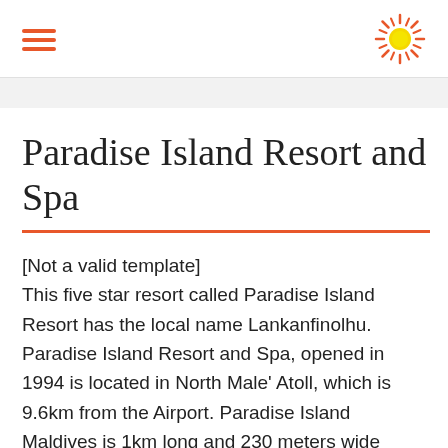Paradise Island Resort and Spa — site header with hamburger menu and sun logo
Paradise Island Resort and Spa
[Not a valid template]
This five star resort called Paradise Island Resort has the local name Lankanfinolhu. Paradise Island Resort and Spa, opened in 1994 is located in North Male' Atoll, which is 9.6km from the Airport. Paradise Island Maldives is 1km long and 230 meters wide